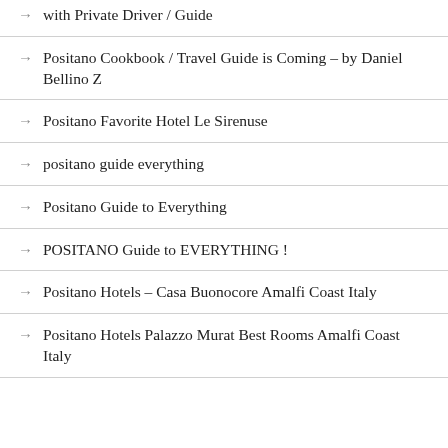with Private Driver / Guide
Positano Cookbook / Travel Guide is Coming – by Daniel Bellino Z
Positano Favorite Hotel Le Sirenuse
positano guide everything
Positano Guide to Everything
POSITANO Guide to EVERYTHING !
Positano Hotels – Casa Buonocore Amalfi Coast Italy
Positano Hotels Palazzo Murat Best Rooms Amalfi Coast Italy